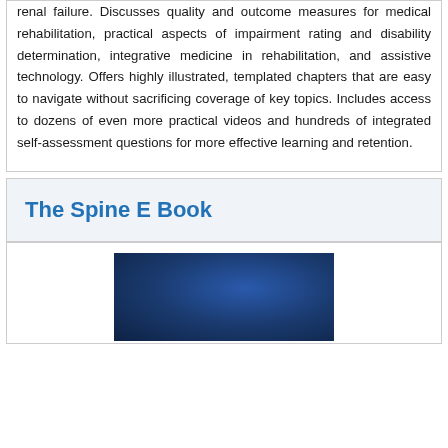renal failure. Discusses quality and outcome measures for medical rehabilitation, practical aspects of impairment rating and disability determination, integrative medicine in rehabilitation, and assistive technology. Offers highly illustrated, templated chapters that are easy to navigate without sacrificing coverage of key topics. Includes access to dozens of even more practical videos and hundreds of integrated self-assessment questions for more effective learning and retention.
The Spine E Book
[Figure (photo): Book cover image with dark blue background for The Spine E Book]